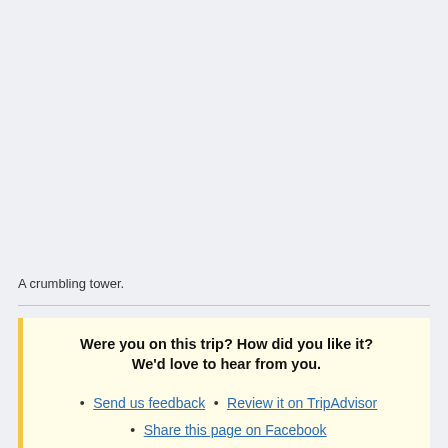[Figure (photo): A crumbling tower — image area appears as light grey placeholder.]
A crumbling tower.
Were you on this trip? How did you like it? We'd love to hear from you.
• Send us feedback • Review it on TripAdvisor
• Share this page on Facebook